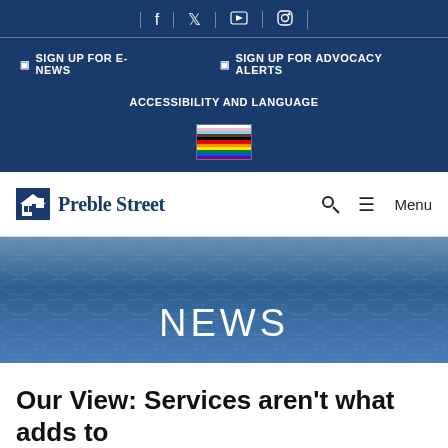Social media icons: Facebook, Twitter, YouTube, Instagram
SIGN UP FOR E-NEWS   SIGN UP FOR ADVOCACY ALERTS
ACCESSIBILITY AND LANGUAGE
[Figure (illustration): Pride/Progress flag icon]
[Figure (logo): Preble Street logo with building icon]
Menu
NEWS
Our View: Services aren't what adds to